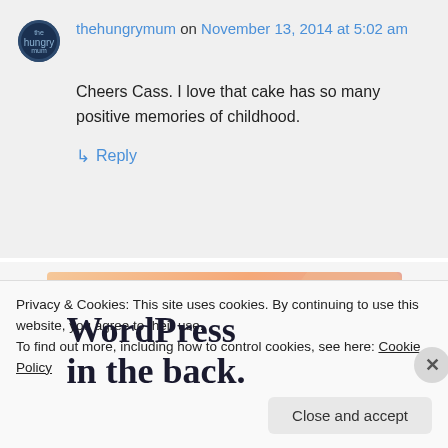thehungrymum on November 13, 2014 at 5:02 am
Cheers Cass. I love that cake has so many positive memories of childhood.
↳ Reply
[Figure (screenshot): WordPress advertisement banner with text 'WordPress in the back.' on a warm gradient background with peach and rose tones]
Privacy & Cookies: This site uses cookies. By continuing to use this website, you agree to their use.
To find out more, including how to control cookies, see here: Cookie Policy
Close and accept